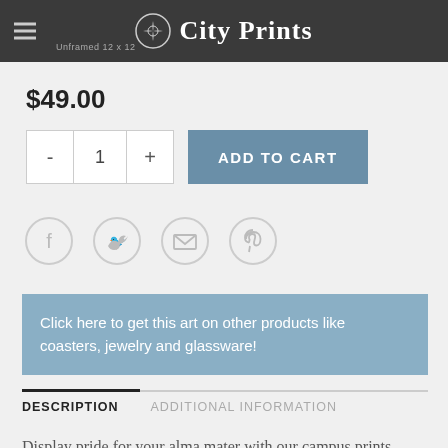City Prints
$49.00
- 1 + ADD TO CART
[Figure (other): Social sharing icons: Facebook, Twitter, Email, Pinterest]
Click here to get this art on other products like coasters, jewelry and glassware!
DESCRIPTION   ADDITIONAL INFORMATION
Display pride for your alma mater with our campus prints – university maps in your school colors showing the roads